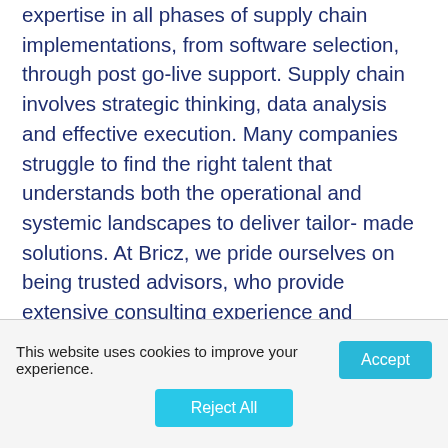expertise in all phases of supply chain implementations, from software selection, through post go-live support. Supply chain involves strategic thinking, data analysis and effective execution. Many companies struggle to find the right talent that understands both the operational and systemic landscapes to deliver tailor-made solutions. At Bricz, we pride ourselves on being trusted advisors, who provide extensive consulting experience and knowledge for customers throughout the life cycle of any supply chain implementation project. Our goal is to help you realize your supply chain potential and turn your team into subject matter
This website uses cookies to improve your experience.